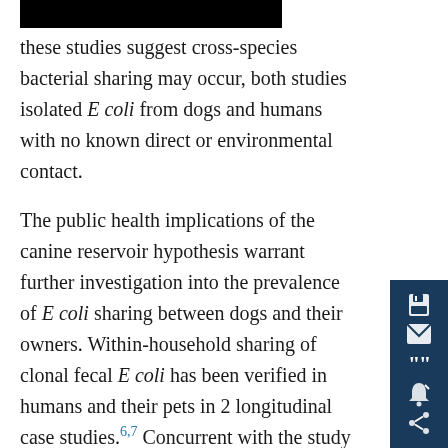these studies suggest cross-species bacterial sharing may occur, both studies isolated E coli from dogs and humans with no known direct or environmental contact.
The public health implications of the canine reservoir hypothesis warrant further investigation into the prevalence of E coli sharing between dogs and their owners. Within-household sharing of clonal fecal E coli has been verified in humans and their pets in 2 longitudinal case studies.6,7 Concurrent with the study reported here, Johnson et al8 performed a study determining prevalence of within-household cross-species sharing of E coli with a focus on households with acute urinary tract infections by use of random-amplified polymorphic DNA analysis and PEGE